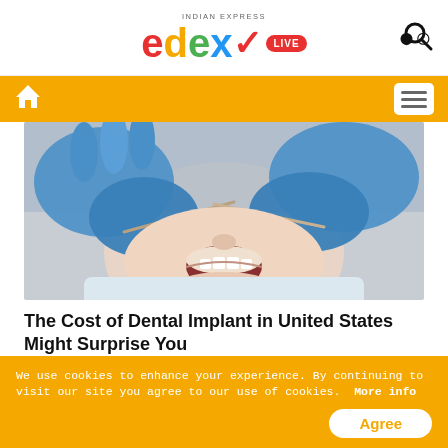edex LIVE — Indian Express
[Figure (photo): Close-up of a dentist in blue gloves examining a patient's open mouth with dental tools]
The Cost of Dental Implant in United States Might Surprise You
Search Ads
We use cookies to enhance your experience. By continuing to visit our site you agree to our use of cookies.  More info